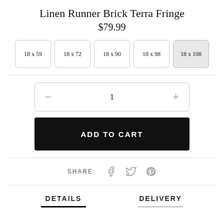Linen Runner Brick Terra Fringe
$79.99
18 x 59
18 x 72
18 x 90
18 x 98
18 x 108
— 1 +
ADD TO CART
SHARE:
DETAILS    DELIVERY